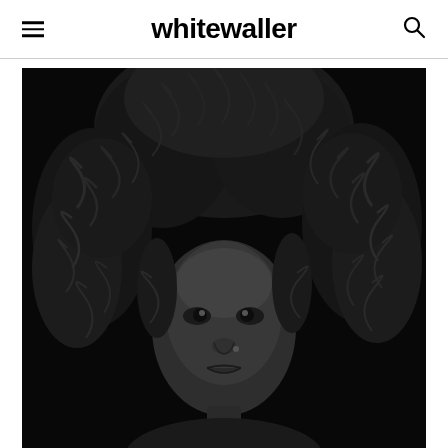whitewaller
[Figure (photo): Black and white portrait photograph of a person with large voluminous curly hair filling most of the frame, dark background, close-up face shot looking slightly to the side]